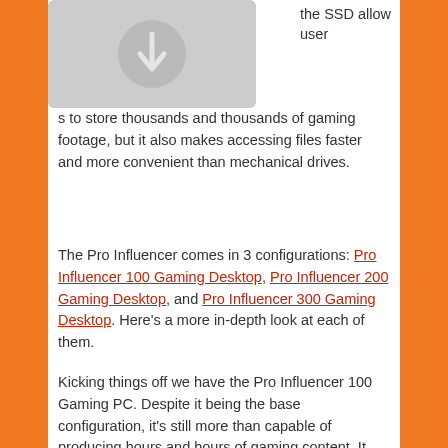[Figure (illustration): Placeholder image with download/leaf icon on grey rounded rectangle background]
the SSD allow users to store thousands and thousands of gaming footage, but it also makes accessing files faster and more convenient than mechanical drives.
The Pro Influencer comes in 3 configurations: Pro Influencer 100 Gaming Desktop, Pro Influencer 200 Gaming Desktop, and Pro Influencer 300 Gaming Desktop. Here's a more in-depth look at each of them.
Kicking things off we have the Pro Influencer 100 Gaming PC. Despite it being the base configuration, it's still more than capable of producing hours and hours of gaming content. It stars a Intel® Core™ Processor i7-8700K, GeForce® GTX 1060 6GB...